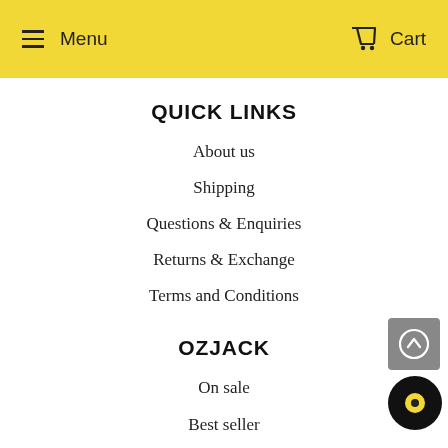Menu  Cart
QUICK LINKS
About us
Shipping
Questions & Enquiries
Returns & Exchange
Terms and Conditions
OZJACK
On sale
Best seller
All Product
Buying Guide
Membership Guide
GET IN TOUCH